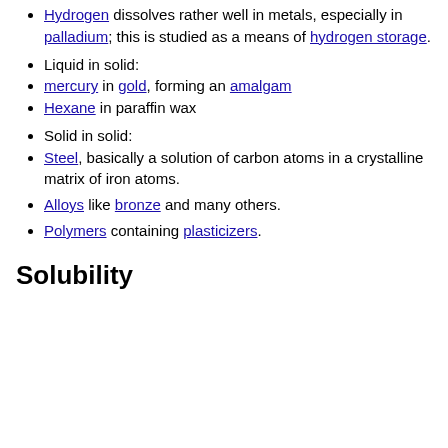Hydrogen dissolves rather well in metals, especially in palladium; this is studied as a means of hydrogen storage.
Liquid in solid:
mercury in gold, forming an amalgam
Hexane in paraffin wax
Solid in solid:
Steel, basically a solution of carbon atoms in a crystalline matrix of iron atoms.
Alloys like bronze and many others.
Polymers containing plasticizers.
Solubility